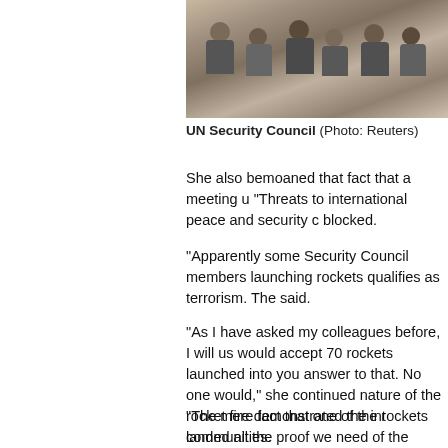[Figure (photo): Aerial/overhead view of UN Security Council chamber showing delegates seated in chairs around tables]
UN Security Council (Photo: Reuters)
She also bemoaned that fact that a meeting u… “Threats to international peace and security c… blocked.
“Apparently some Security Council members… launching rockets qualifies as terrorism. The… said.
"As I have asked my colleagues before, I will… us would accept 70 rockets launched into yo… answer to that. No one would," she continued… nature of the rocket fire demonstrated the int… communities.
“The mere fact that one of the rockets landed… all the proof we need of the intentions of the t… responsibility for this attack. They do so prou… attack did not kill anyone," Haley said.
The ambassador also pointed the finger at th…